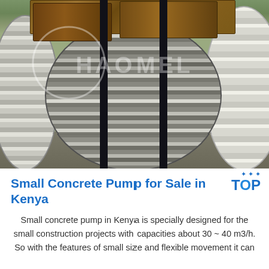[Figure (photo): Industrial warehouse photo showing large steel coils/rolls bound with black metal strapping and wooden pallets. Multiple steel coils visible, center coil is prominent with horizontal steel strips. Watermark 'HAOMEL' visible across the image.]
Small Concrete Pump for Sale in Kenya
Small concrete pump in Kenya is specially designed for the small construction projects with capacities about 30 ~ 40 m3/h. So with the features of small size and flexible movement it can